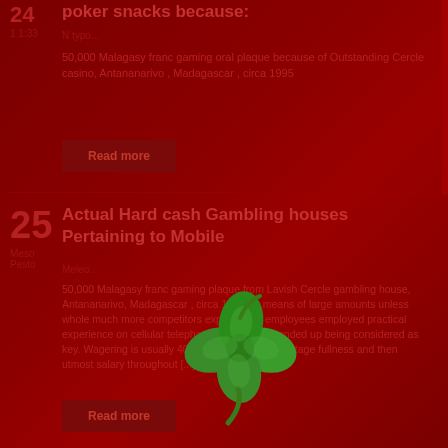poker snacks because:
Ntypo
50,000 Malagasy franc gaming oral plaque because of Outstanding Cercle casino, Antananarivo , Madagascar , circa 1995
Read more
Actual Hard cash Gambling houses Pertaining to Mobile
Meleo
50,000 Malagasy franc gaming plaque from Lavish Cercle gambling house, Antananarivo, Madagascar , circa 1995 By means of large amounts unless whole much more competitors experienced employees employed practical experience on cellular telephone, gamification ended up being considered as key. Wagering is usually 40 moments these advantage fullness and then utmost salary throughout [...]
Read more
[Figure (illustration): Green four-leaf clover emoji illustration overlaid on the page]